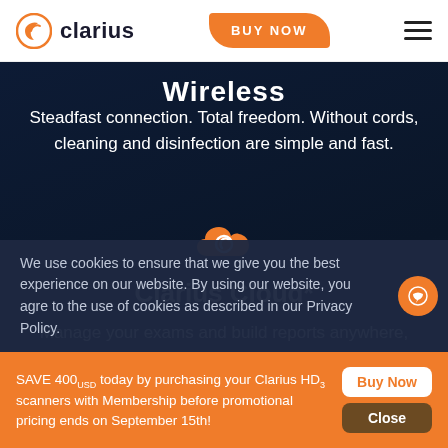Clarius | BUY NOW
Wireless
Steadfast connection. Total freedom. Without cords, cleaning and disinfection are simple and fast.
[Figure (logo): Orange Clarius cloud icon]
Clarius Cloud*
Manage your exams and build reports anywhere, anytime
We use cookies to ensure that we give you the best experience on our website. By using our website, you agree to the use of cookies as described in our Privacy Policy.
SAVE 400USD today by purchasing your Clarius HD3 scanners with Membership before promotional pricing ends on September 15th!